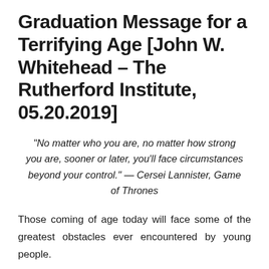Graduation Message for a Terrifying Age [John W. Whitehead – The Rutherford Institute, 05.20.2019]
“No matter who you are, no matter how strong you are, sooner or later, you’ll face circumstances beyond your control.” — Cersei Lannister, Game of Thrones
Those coming of age today will face some of the greatest obstacles ever encountered by young people.
They will find themselves overtaxed, burdened